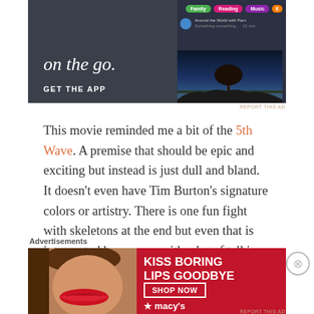[Figure (screenshot): App advertisement banner with dark background showing 'on the go.' text and 'GET THE APP' button on left, app interface with category pills (Family, Reading, Music) and scenic tree image on right]
REPORT THIS AD
This movie reminded me a bit of the 5th Wave. A premise that should be epic and exciting but instead is just dull and bland. It doesn't even have Tim Burton's signature colors or artistry. There is one fun fight with skeletons at the end but even that is interrupted by a scene with a lot of talking. The film is set in Wales so the cinematography feels foggy and muddled, so I didn't even enjoy it on a visual level (at least a movie like Charlie and the
Advertisements
[Figure (photo): Macy's lipstick advertisement with red background showing 'KISS BORING LIPS GOODBYE' text, woman's lips, SHOP NOW button, and Macy's star logo]
REPORT THIS AD